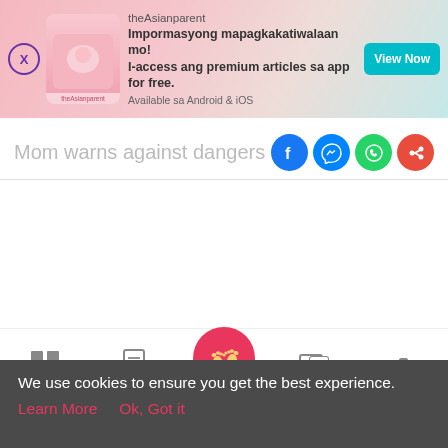[Figure (screenshot): theAsianparent app advertisement banner with pink gradient background, app logo, text in Filipino, and teal View Now button]
Mom warns against dangers of home
[Figure (infographic): Social sharing icons: Facebook (blue circle), Messenger (blue circle), WhatsApp (green circle), Share (red circle)]
[Figure (screenshot): Bottom navigation bar with Tools, Articles, baby feet home icon, Feed, and Poll tabs]
We use cookies to ensure you get the best experience.
Learn More   Ok, Got it